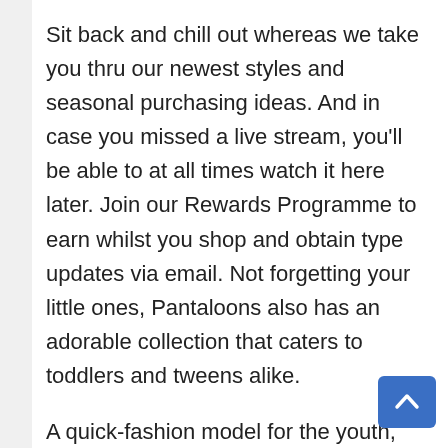Sit back and chill out whereas we take you thru our newest styles and seasonal purchasing ideas. And in case you missed a live stream, you'll be able to at all times watch it here later. Join our Rewards Programme to earn whilst you shop and obtain type updates via email. Not forgetting your little ones, Pantaloons also has an adorable collection that caters to toddlers and tweens alike.
A quick-fashion model for the youth, People is a one-step vacation spot for worldwide and fashion forward types. Catering to girls, males and youngsters, the product line is characterized by attitude that is avenue excellent and school ready. The brand offers the newest trends via its range of casual shirts